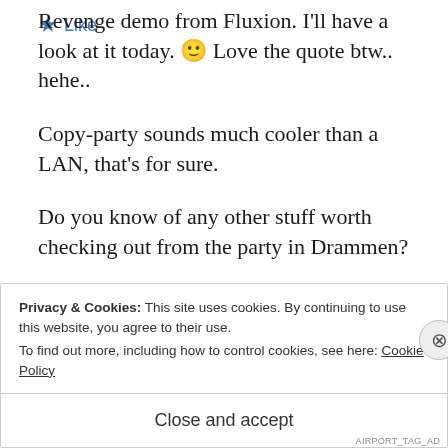Revenge demo from Fluxion. I'll have a look at it today. 🙂 Love the quote btw.. hehe..
Copy-party sounds much cooler than a LAN, that's for sure.
Do you know of any other stuff worth checking out from the party in Drammen?
★ Like
Privacy & Cookies: This site uses cookies. By continuing to use this website, you agree to their use.
To find out more, including how to control cookies, see here: Cookie Policy
Close and accept